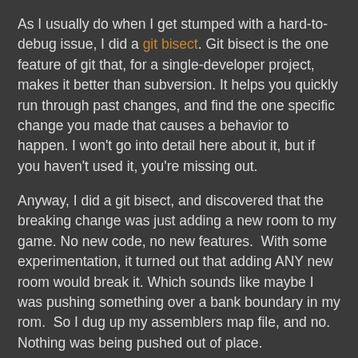As I usually do when I get stumped with a hard-to-debug issue, I did a git bisect. Git bisect is the one feature of git that, for a single-developer project, makes it better than subversion. It helps you quickly run through past changes, and find the one specific change you made that causes a behavior to happen. I won't go into detail here about it, but if you haven't used it, you're missing out.
Anyway, I did a git bisect, and discovered that the breaking change was just adding a new room to my game. No new code, no new features.  With some experimentation, it turned out that adding ANY new room would break it. Which sounds like maybe I was pushing something over a bank boundary in my rom.  So I dug up my assemblers map file, and no. Nothing was being pushed out of place.
So what could it be? fceux has a debugger, but for some reason, I can't understand how to use it. Did I really need to learn its debugger just for this?
Well, because the problem happened somewhere on startup,